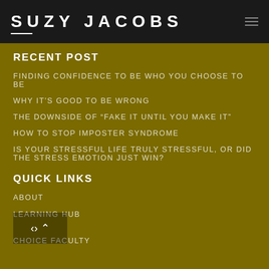SUZY JACOBS
RECENT POST
FINDING CONFIDENCE TO BE WHO YOU CHOOSE TO BE
WHY IT'S GOOD TO BE WRONG
THE DOWNSIDE OF “FAKE IT UNTIL YOU MAKE IT”
HOW TO STOP IMPOSTER SYNDROME
IS YOUR STRESSFUL LIFE TRULY STRESSFUL, OR DID THE STRESS EMOTION JUST WIN?
QUICK LINKS
ABOUT
LEARNING HUB
CHOICE FACULTY